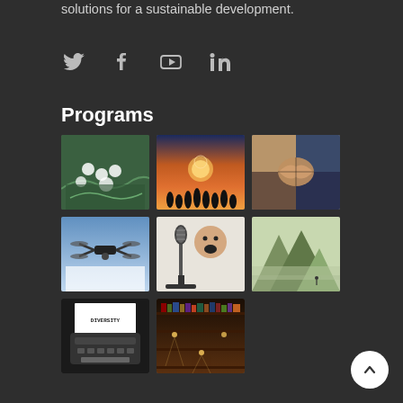solutions for a sustainable development.
[Figure (other): Social media icons: Twitter, Facebook, YouTube, LinkedIn]
Programs
[Figure (photo): Grid of 8 program images: aerial view of wind turbines, group silhouettes at sunset with brain, teamwork hands, drone in sky, child shouting at microphone, mountain landscape, typewriter with 'DIVERSITY' text, library with books and lights]
[Figure (other): Back to top circular button with upward arrow]